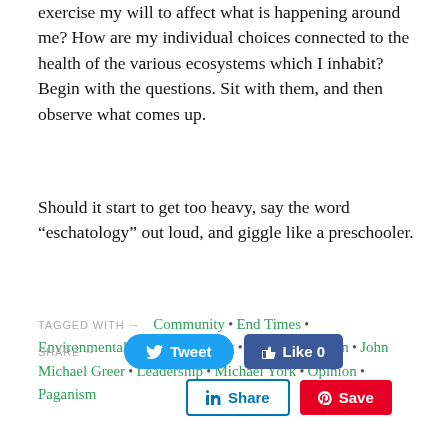exercise my will to affect what is happening around me? How are my individual choices connected to the health of the various ecosystems which I inhabit? Begin with the questions. Sit with them, and then observe what comes up.
Should it start to get too heavy, say the word “eschatology” out loud, and giggle like a preschooler.
TAGGED WITH →   Community • End Times • Environmentalism • Eschatology • Fear • Inspiration • John Michael Greer • Leadership • Michael York • Opinion • Paganism
SHARE →   Tweet   Like 0   Share   Save